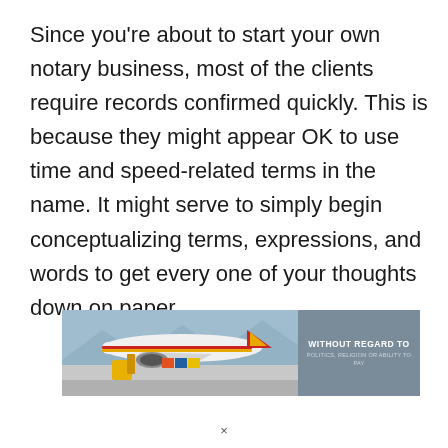Since you're about to start your own notary business, most of the clients require records confirmed quickly. This is because they might appear OK to use time and speed-related terms in the name. It might serve to simply begin conceptualizing terms, expressions, and words to get every one of your thoughts down on paper.
[Figure (photo): Advertisement banner showing cargo being loaded onto a Southwest Airlines airplane on a tarmac, with an overlay panel reading 'WITHOUT REGARD TO POLITICS, RELIGION OR ABILITY TO PAY']
×